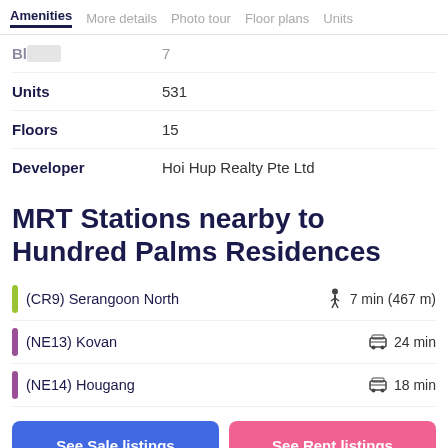Amenities | More details | Photo tour | Floor plans | Units
Blocks  7
Units  531
Floors  15
Developer  Hoi Hup Realty Pte Ltd
MRT Stations nearby to Hundred Palms Residences
(CR9) Serangoon North  🚶 7 min (467 m)
(NE13) Kovan  🚌 24 min
(NE14) Hougang  🚌 18 min
See Sale listings | See Rent listings